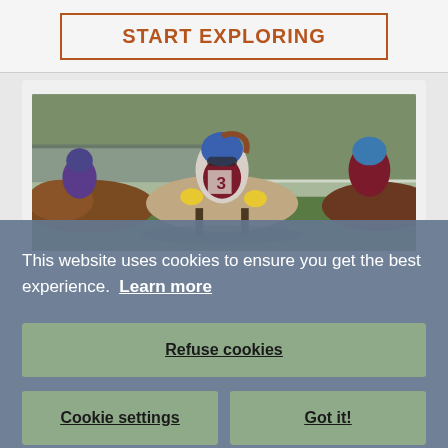START EXPLORING
[Figure (photo): Horse racing photo showing jockeys riding horses closely together on a track, with a jockey wearing blue helmet and number 3 in the foreground]
This website uses cookies to ensure you get the best experience. Learn more
Refuse cookies
Cookie settings
Got it!